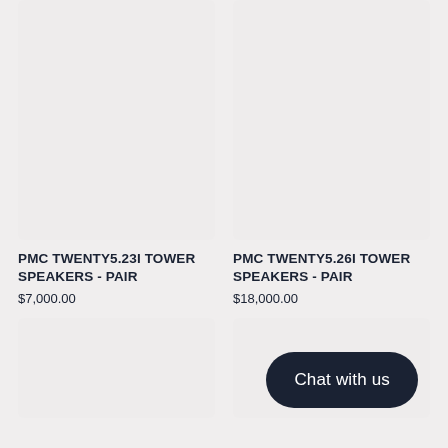[Figure (photo): Product image placeholder for PMC Twenty5.23i Tower Speakers - light grey rectangle]
[Figure (photo): Product image placeholder for PMC Twenty5.26i Tower Speakers - light grey rectangle]
PMC TWENTY5.23I TOWER SPEAKERS - PAIR
$7,000.00
PMC TWENTY5.26I TOWER SPEAKERS - PAIR
$18,000.00
[Figure (photo): Product image placeholder - light grey rectangle, bottom left]
[Figure (photo): Product image placeholder - light grey rectangle, bottom right]
Chat with us